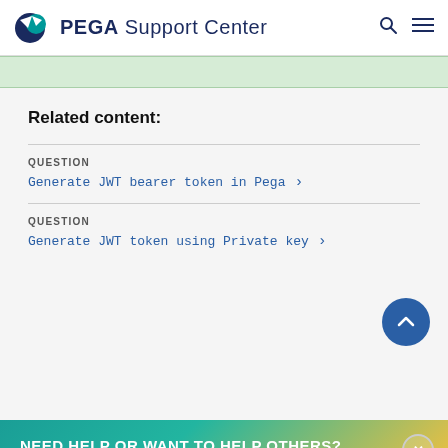PEGA Support Center
Related content:
QUESTION
Generate JWT bearer token in Pega >
QUESTION
Generate JWT token using Private key >
NEED HELP OR WANT TO HELP OTHERS?
By using this site, you agree to the use of cookies. Read our Privacy Policy
Accept and continue   About cookies